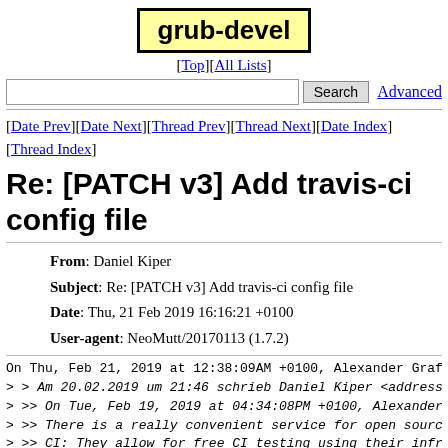grub-devel
[Top][All Lists]
Search  Advanced
[Date Prev][Date Next][Thread Prev][Thread Next][Date Index][Thread Index]
Re: [PATCH v3] Add travis-ci config file
| From | Daniel Kiper |
| Subject | Re: [PATCH v3] Add travis-ci config file |
| Date | Thu, 21 Feb 2019 16:16:21 +0100 |
| User-agent | NeoMutt/20170113 (1.7.2) |
On Thu, Feb 21, 2019 at 12:38:09AM +0100, Alexander Graf
> > Am 20.02.2019 um 21:46 schrieb Daniel Kiper <address@
> >> On Tue, Feb 19, 2019 at 04:34:08PM +0100, Alexander
> >> There is a really convenient service for open source
> >> CI: They allow for free CI testing using their infra
> >>
> >> Grub has had issues with broken builds for various
> >> already. The main reason is a lack of CI to just do
> >> all targets still at least compile.